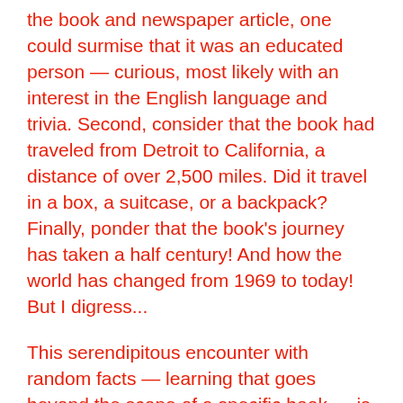the book and newspaper article, one could surmise that it was an educated person — curious, most likely with an interest in the English language and trivia. Second, consider that the book had traveled from Detroit to California, a distance of over 2,500 miles. Did it travel in a box, a suitcase, or a backpack? Finally, ponder that the book's journey has taken a half century! And how the world has changed from 1969 to today! But I digress...
This serendipitous encounter with random facts — learning that goes beyond the scope of a specific book — is one of the wonderful byproducts of book collecting. Sadly, most books on bookcollecting don't even address that incredible aspect. Nevertheless, without further ado, here are the fascinating facts that I learned when a newspaper clipping fell out of an old book: